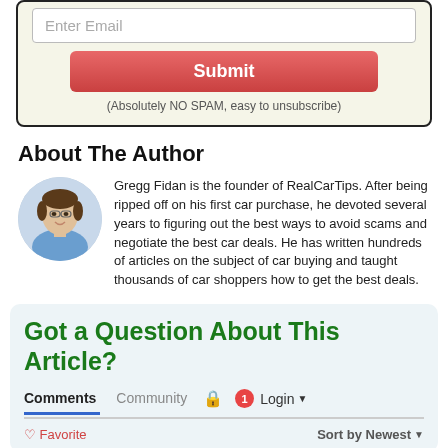[Figure (screenshot): Email input field with placeholder 'Enter Email', red Submit button, and '(Absolutely NO SPAM, easy to unsubscribe)' text]
About The Author
Gregg Fidan is the founder of RealCarTips. After being ripped off on his first car purchase, he devoted several years to figuring out the best ways to avoid scams and negotiate the best car deals. He has written hundreds of articles on the subject of car buying and taught thousands of car shoppers how to get the best deals.
Got a Question About This Article?
Comments  Community  🔒  1  Login ▾
♡ Favorite    Sort by Newest ▾